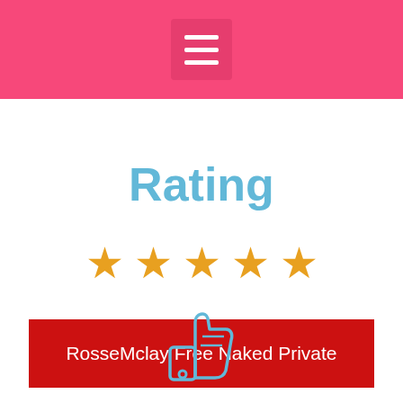Rating
[Figure (illustration): Five gold/orange star rating icons in a row]
RosseMclay Free Naked Private
[Figure (illustration): Thumbs up icon in light blue outline style]